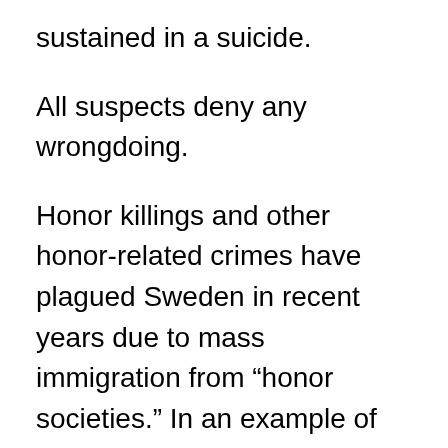sustained in a suicide.
All suspects deny any wrongdoing.
Honor killings and other honor-related crimes have plagued Sweden in recent years due to mass immigration from “honor societies.” In an example of the violence displayed in some such cases, an Afghan man and his two sons stabbed another man 90 times to “preserve honor.”
In September 2019, the Swedish Police Authority began specifically tracking honor-